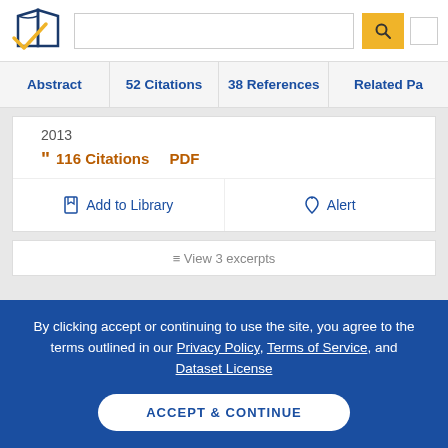[Figure (logo): Semantic Scholar logo - stylized book pages with blue and gold checkmark]
Abstract | 52 Citations | 38 References | Related Pa...
2013
" 116 Citations   PDF
Add to Library   Alert
≡ View 3 excerpts
By clicking accept or continuing to use the site, you agree to the terms outlined in our Privacy Policy, Terms of Service, and Dataset License
ACCEPT & CONTINUE